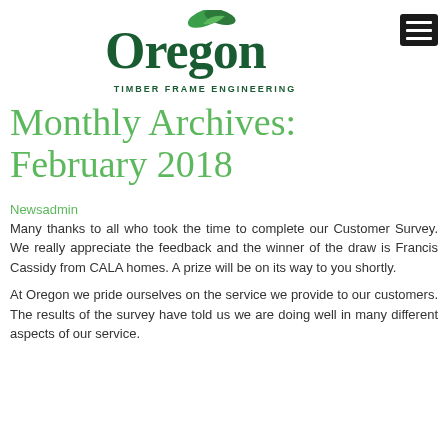[Figure (logo): Oregon Timber Frame Engineering logo with green leaf and green bold text, plus hamburger menu icon]
Monthly Archives: February 2018
Newsadmin
Many thanks to all who took the time to complete our Customer Survey. We really appreciate the feedback and the winner of the draw is Francis Cassidy from CALA homes. A prize will be on its way to you shortly.
At Oregon we pride ourselves on the service we provide to our customers. The results of the survey have told us we are doing well in many different aspects of our service.